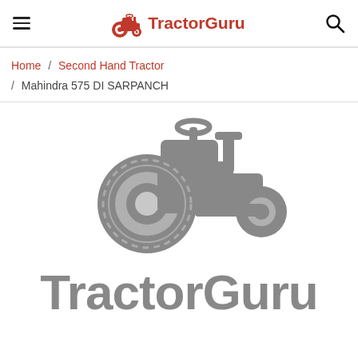TractorGuru
Home / Second Hand Tractor / Mahindra 575 DI SARPANCH
[Figure (logo): TractorGuru watermark logo: gray tractor icon above large gray bold text 'TractorGuru']